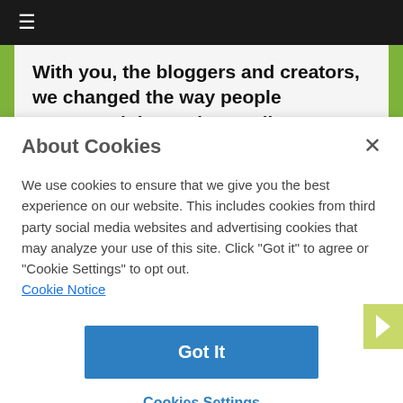≡
With you, the bloggers and creators, we changed the way people expressed themselves online,
About Cookies
We use cookies to ensure that we give you the best experience on our website. This includes cookies from third party social media websites and advertising cookies that may analyze your use of this site. Click "Got it" to agree or "Cookie Settings" to opt out.
Cookie Notice
Got It
Cookies Settings